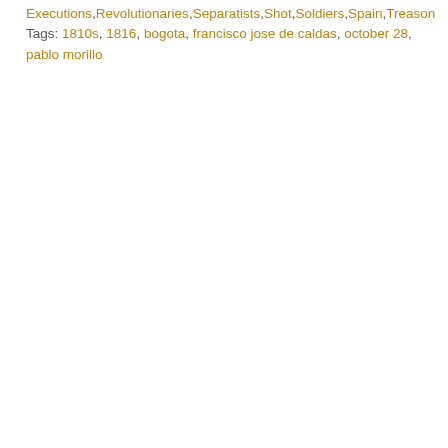Executions, Revolutionaries, Separatists, Shot, Soldiers, Spain, Treason
Tags: 1810s, 1816, bogota, francisco jose de caldas, october 28, pablo morillo